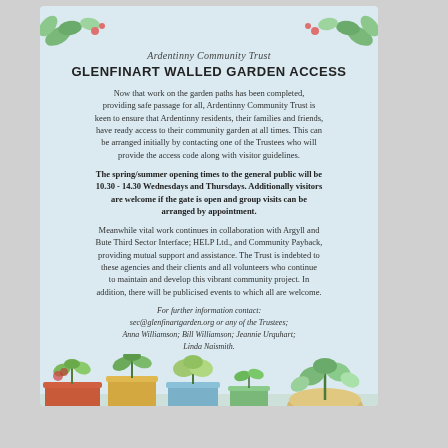Ardentinny Community Trust
GLENFINART WALLED GARDEN ACCESS
Now that work on the garden paths has been completed, providing safe passage for all, Ardentinny Community Trust is keen to ensure that Ardentinny residents, their families and friends, have ready access to their community garden at all times. This can be arranged initially by contacting one of the Trustees who will provide the access code along with visitor guidelines.
The spring/summer opening times to the general public will be 10.30 - 14.30 Wednesdays and Thursdays. Additionally visitors are welcome if the gate is open and group visits can be arranged by appointment.
Meanwhile vital work continues in collaboration with Argyll and Bute Third Sector Interface; HELP Ltd., and Community Payback, providing mutual support and assistance. The Trust is indebted to these agencies and their clients and all volunteers who continue to maintain and develop this vibrant community project. In addition, there will be publicised events to which all are welcome.
For further information contact: sec@glenfinartgarden.org or any of the Trustees; Anna Williamson; Bill Williamson; Jeannie Urquhart; Linda Naismith.